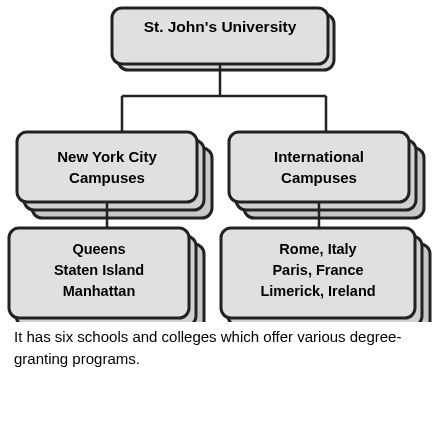[Figure (organizational-chart): Organizational chart showing St. John's University at the top, branching to New York City Campuses (Queens, Staten Island, Manhattan) and International Campuses (Rome Italy, Paris France, Limerick Ireland)]
It has six schools and colleges which offer various degree-granting programs.